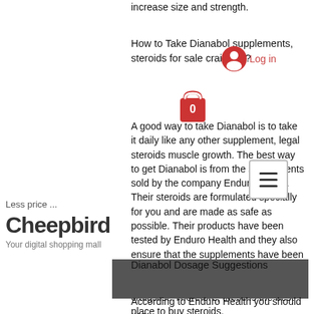increase size and strength.
How to Take Dianabol supplements, steroids for sale craigslist?
A good way to take Dianabol is to take it daily like any other supplement, legal steroids muscle growth. The best way to get Dianabol is from the supplements sold by the company Enduro Health. Their steroids are formulated specially for you and are made as safe as possible. Their products have been tested by Enduro Health and they also ensure that the supplements have been tested for other contaminants have not been removed either, steroids for sale craigslist. Therefore, these is the best place to buy steroids.
Dianabol Dosage Suggestions
According to Enduro Health you should use